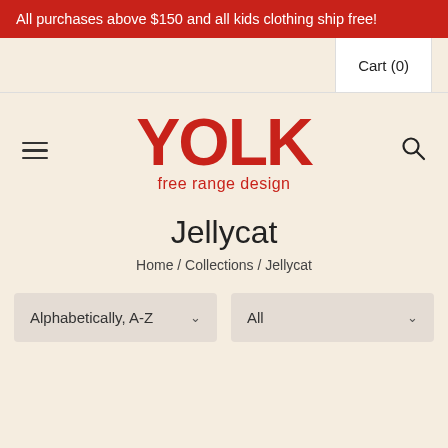All purchases above $150 and all kids clothing ship free!
Cart (0)
YOLK free range design
Jellycat
Home / Collections / Jellycat
Alphabetically, A-Z
All